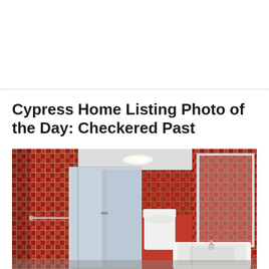Cypress Home Listing Photo of the Day: Checkered Past
[Figure (photo): A bathroom interior with bold red and green plaid/checkered wallpaper covering all walls, a glass-door shower stall with chrome frame on the left, a toilet in the center background, and a white sink/vanity on the right, with a large mirror on the right wall reflecting the plaid wallpaper and the room.]